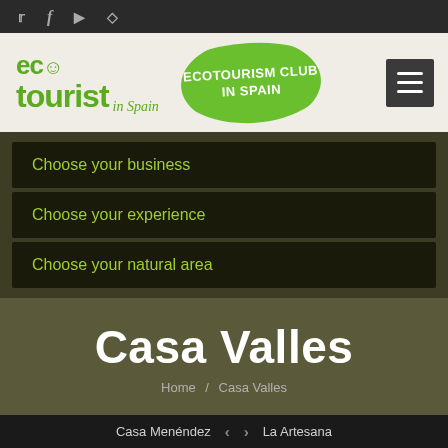Social icons: Twitter, Facebook, YouTube, Instagram
[Figure (logo): Eco Tourist in Spain logo with green leaf badge reading ECOTOURISM CLUB IN SPAIN and a hamburger menu button]
Choose your business
Choose your experience
Choose your natural area
Casa Valles
Home / Casa Valles
Casa Menéndez  <  >  La Artesana